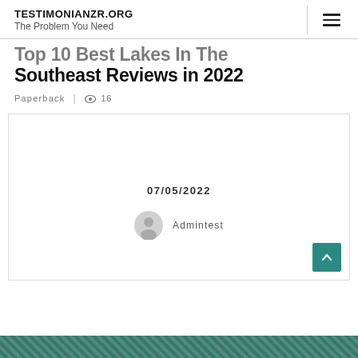TESTIMONIANZR.ORG
The Problem You Need
Top 10 Best Lakes In The Southeast Reviews in 2022
Paperback | 16
07/05/2022
Admintest